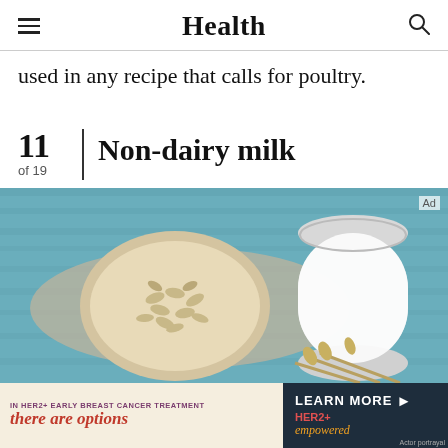Health
used in any recipe that calls for poultry.
11 of 19 | Non-dairy milk
[Figure (photo): Overhead view of a bowl of oats and a glass of milk on a blue wooden surface with straw/wheat decoration]
IN HER2+ EARLY BREAST CANCER TREATMENT there are options | LEARN MORE > HER2+ empowered | Actor portrayal